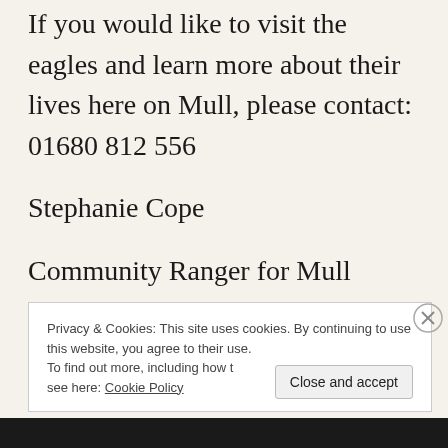If you would like to visit the eagles and learn more about their lives here on Mull, please contact: 01680 812 556
Stephanie Cope
Community Ranger for Mull Eagle Watch.
Privacy & Cookies: This site uses cookies. By continuing to use this website, you agree to their use.
To find out more, including how to control cookies, see here: Cookie Policy